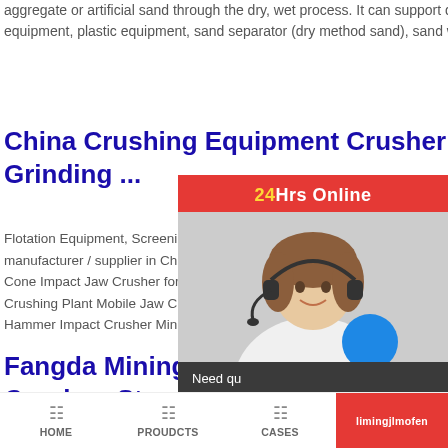aggregate or artificial sand through the dry, wet process. It can support different types of feeder, crusher, sieving equipment, plastic equipment, sand separator (dry method sand), sand washing ...
China Crushing Equipment Crusher manufacturer, Grinding ...
Flotation Equipment, Screening Equipment, Classify manufacturer / supplier in China, offering Stone Roc d Cone Impact Jaw Crusher for Mines, Mining Equipm Crushing Plant Mobile Jaw Crusher, Stone Rock Co er Hammer Impact Crusher Mining Equipment Machine
Fangda Mining Machinery - China Ha Crusher, Stone ...
[Figure (photo): Chat support overlay showing a woman with headset, 24Hrs Online red banner, Need question & suggestion text, Chat Now button, Enquiry button, limingjlmofen label]
HOME   PROUDCTS   CASES   limingjlmofen